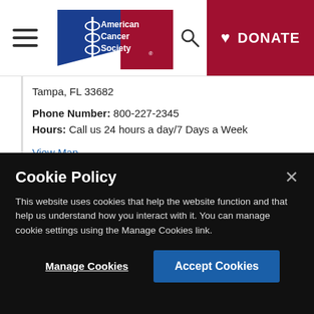[Figure (logo): American Cancer Society logo — blue and red stylized design with snake/staff emblem]
Tampa, FL 33682
Phone Number: 800-227-2345
Hours: Call us 24 hours a day/7 Days a Week
View Map
American Cancer Society - (FL) Tampa, (Mailing address below)
PO Box 17127 ,
Cookie Policy
This website uses cookies that help the website function and that help us understand how you interact with it. You can manage cookie settings using the Manage Cookies link.
Manage Cookies
Accept Cookies